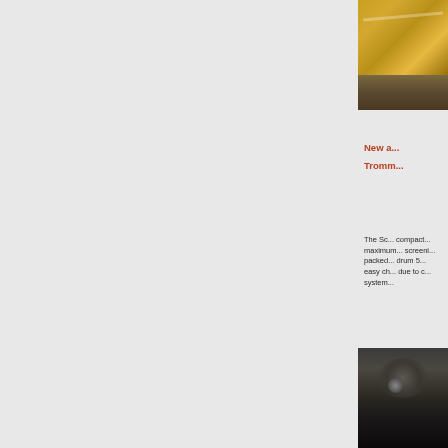[Figure (photo): Yellow heavy machinery (possibly an excavator or crane) photographed near water or muddy ground]
New a... Tromm...
The Sc... compact... maximum... screening... packed... drum 5... easy ch... due to c... system...
[Figure (photo): Dark close-up photograph, appears to show machinery or equipment in low light]